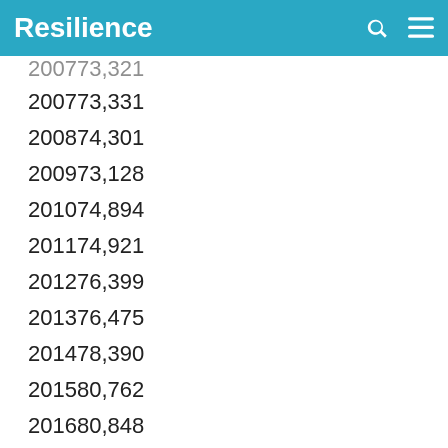Resilience
200773,321
200773,331
200874,301
200973,128
201074,894
201174,921
201276,399
201376,475
201478,390
201580,762
201680,848